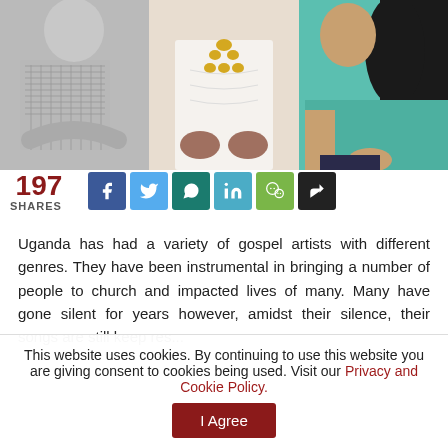[Figure (photo): Three photos side by side: left is a black-and-white photo of a man with crossed arms; center is a woman in a white dress with gold necklace; right is a woman in a teal/green top.]
197 SHARES
[Figure (infographic): Social sharing buttons: Facebook, Twitter, WhatsApp, LinkedIn, WeChat, Share]
Uganda has had a variety of gospel artists with different genres. They have been instrumental in bringing a number of people to church and impacted lives of many. Many have gone silent for years however, amidst their silence, their songs are still...
This website uses cookies. By continuing to use this website you are giving consent to cookies being used. Visit our Privacy and Cookie Policy.